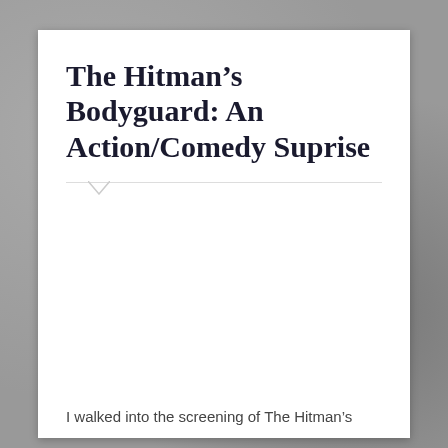The Hitman’s Bodyguard: An Action/Comedy Suprise
I walked into the screening of The Hitman’s